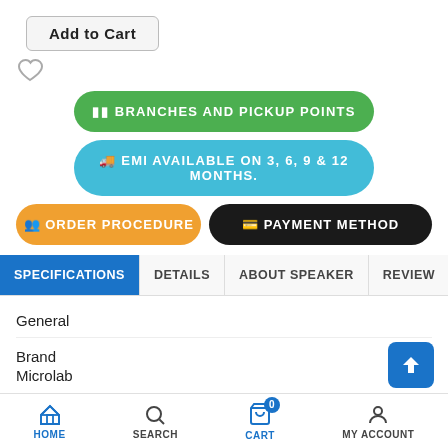Add to Cart
[Figure (other): Heart/wishlist icon (outline heart)]
🖴 BRANCHES AND PICKUP POINTS
🚚 EMI AVAILABLE ON 3, 6, 9 & 12 MONTHS.
👥 ORDER PROCEDURE
💳 PAYMENT METHOD
SPECIFICATIONS | DETAILS | ABOUT SPEAKER | REVIEW | QU...
General
Brand
Microlab
Model
Microlab Magicup
Type
Bluetooth Speaker
Connectivity